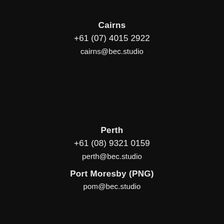Cairns
+61 (07) 4015 2922
cairns@bec.studio
Perth
+61 (08) 9321 0159
perth@bec.studio
Port Moresby (PNG)
pom@bec.studio